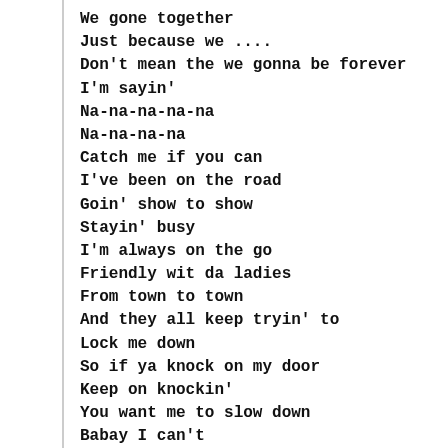We gone together
Just because we ....
Don't mean the we gonna be forever
I'm sayin'
Na-na-na-na-na
Na-na-na-na
Catch me if you can
I've been on the road
Goin' show to show
Stayin' busy
I'm always on the go
Friendly wit da ladies
From town to town
And they all keep tryin' to
Lock me down
So if ya knock on my door
Keep on knockin'
You want me to slow down
Babay I can't
It don't mean
We gone be together